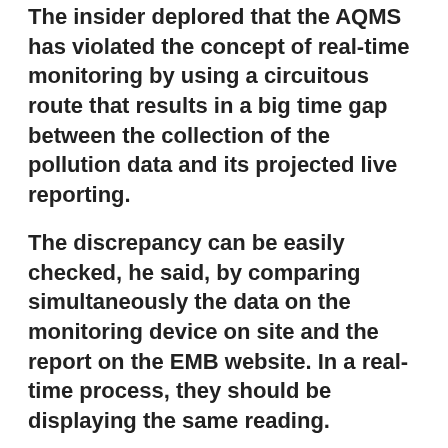The insider deplored that the AQMS has violated the concept of real-time monitoring by using a circuitous route that results in a big time gap between the collection of the pollution data and its projected live reporting.
The discrepancy can be easily checked, he said, by comparing simultaneously the data on the monitoring device on site and the report on the EMB website. In a real-time process, they should be displaying the same reading.
■ Readers hit deterioration of air quality
SEVERAL readers reacted to our